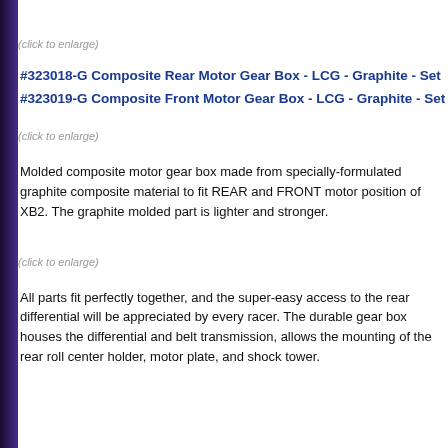(click to enlarge)
#323018-G Composite Rear Motor Gear Box - LCG - Graphite - Set
#323019-G Composite Front Motor Gear Box - LCG - Graphite - Set
(click to enlarge)
Molded composite motor gear box made from specially-formulated graphite composite material to fit REAR and FRONT motor position of XB2. The graphite molded part is lighter and stronger.
(click to enlarge)
All parts fit perfectly together, and the super-easy access to the rear differential will be appreciated by every racer. The durable gear box houses the differential and belt transmission, allows the mounting of the rear roll center holder, motor plate, and shock tower.